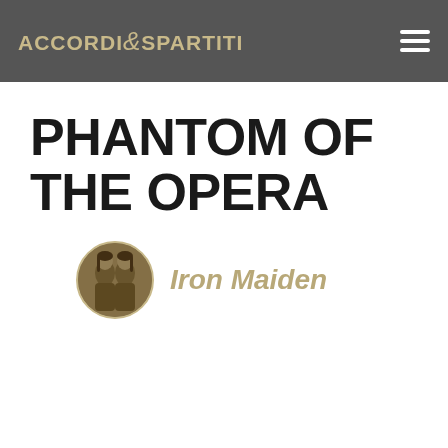ACCORDI & SPARTITI
PHANTOM OF THE OPERA
Iron Maiden